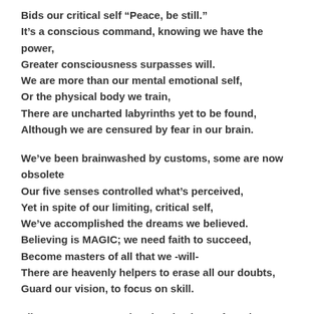Bids our critical self “Peace, be still.”
It’s a conscious command, knowing we have the power,
Greater consciousness surpasses will.
We are more than our mental emotional self,
Or the physical body we train,
There are uncharted labyrinths yet to be found,
Although we are censured by fear in our brain.
We’ve been brainwashed by customs, some are now obsolete
Our five senses controlled what’s perceived,
Yet in spite of our limiting, critical self,
We’ve accomplished the dreams we believed.
Believing is MAGIC; we need faith to succeed,
Become masters of all that we -will-
There are heavenly helpers to erase all our doubts,
Guard our vision, to focus on skill.
Like a magnet, attracting the shavings of steel,
Our beliefs will attract what we see,